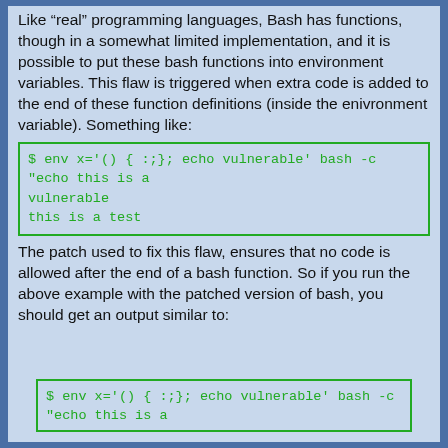Like “real” programming languages, Bash has functions, though in a somewhat limited implementation, and it is possible to put these bash functions into environment variables. This flaw is triggered when extra code is added to the end of these function definitions (inside the enivronment variable). Something like:
$ env x='() { :;}; echo vulnerable' bash -c "echo this is a
vulnerable
this is a test
The patch used to fix this flaw, ensures that no code is allowed after the end of a bash function. So if you run the above example with the patched version of bash, you should get an output similar to:
$ env x='() { :;}; echo vulnerable' bash -c "echo this is a